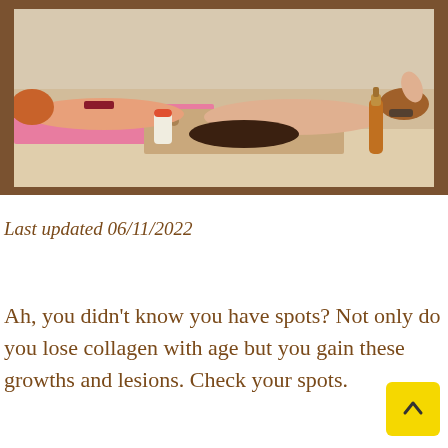[Figure (photo): Two women in bikinis lying on a beach on towels, with a beer bottle and sunscreen visible on the sand.]
Last updated 06/11/2022
Ah, you didn’t know you have spots? Not only do you lose collagen with age but you gain these growths and lesions. Check your spots.